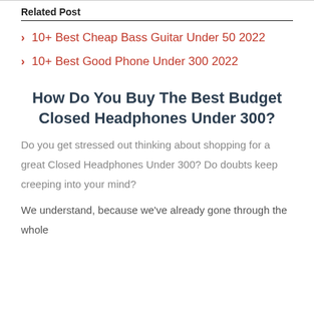Related Post
10+ Best Cheap Bass Guitar Under 50 2022
10+ Best Good Phone Under 300 2022
How Do You Buy The Best Budget Closed Headphones Under 300?
Do you get stressed out thinking about shopping for a great Closed Headphones Under 300? Do doubts keep creeping into your mind?
We understand, because we've already gone through the whole